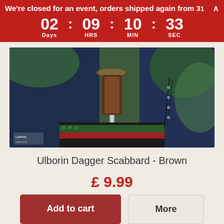We're closed for an event, orders shipped again from 31
02 Days | 09 HRS | 10 MIN | 33 SEC
[Figure (photo): A person wearing a blue medieval-style shirt, holding a dagger with a brown leather scabbard, with green foliage in the background. Logo of LARPINN / larpinn.co.uk visible at bottom left of image.]
Ulborin Dagger Scabbard - Brown
£ 9.99
Add to cart
More